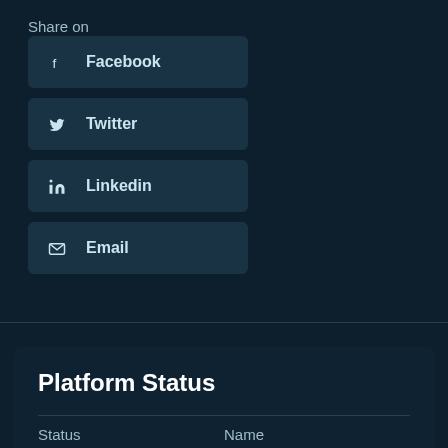Share on
Facebook
Twitter
Linkedin
Email
Platform Status
| Status | Name |
| --- | --- |